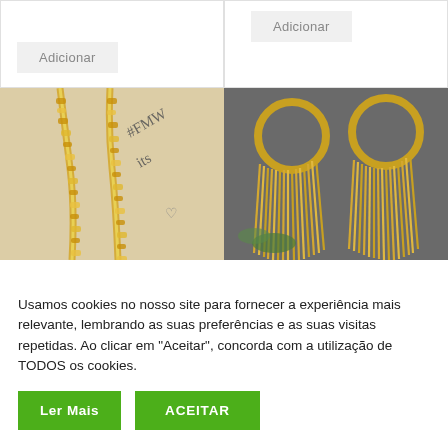[Figure (other): Button labeled Adicionar (Add) in Portuguese, light gray background, left product card bottom]
[Figure (other): Button labeled Adicionar (Add) in Portuguese, light gray background, right product card top]
[Figure (photo): Close-up photo of a gold chain necklace on a beige fabric background with handwritten text #FMWits and a small heart]
[Figure (photo): Photo of gold hoop earrings with long fringe/tassel drops against a gray fabric background with greenery]
Usamos cookies no nosso site para fornecer a experiência mais relevante, lembrando as suas preferências e as suas visitas repetidas. Ao clicar em “Aceitar”, concorda com a utilização de TODOS os cookies.
Ler Mais
ACEITAR